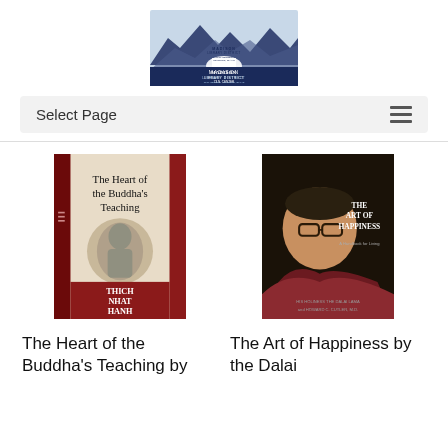[Figure (logo): Madison Library District logo with mountains, open book, and text: MADISON LIBRARY DISTRICT 73 N. CENTER REXBURG, IDAHO Centennial Celebration]
Select Page
[Figure (photo): Book cover of 'The Heart of the Buddha's Teaching' by Thich Nhat Hanh - red and cream cover with Buddha statue]
[Figure (photo): Book cover of 'The Art of Happiness' by the Dalai Lama - dark cover with photo of Dalai Lama]
The Heart of the Buddha's Teaching by
The Art of Happiness by the Dalai